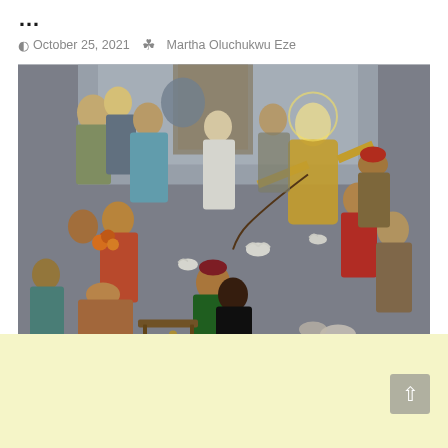...
October 25, 2021   Martha Oluchukwu Eze
[Figure (illustration): A colorful painting depicting a biblical scene of Jesus driving out merchants and money changers from the temple. A central figure in a yellow robe stands with arm outstretched holding a whip/cord, surrounded by many figures in robes and turbans, scattered birds (doves), animals, and overturned market goods.]
[Figure (other): Light yellow/cream background bar at the bottom of the page with a small grey scroll-to-top arrow button in the bottom right corner.]